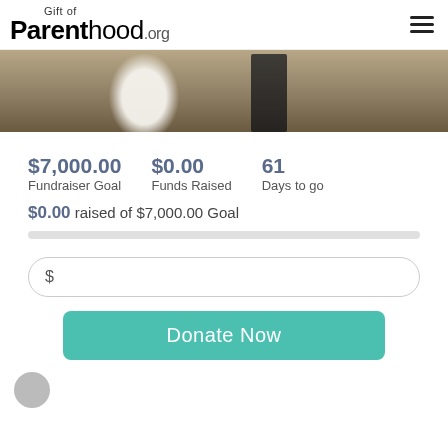Gift of Parenthood.org
[Figure (photo): Wedding couple photo, partially cropped showing white dress and dark suit legs]
$7,000.00 Fundraiser Goal   $0.00 Funds Raised   61 Days to go
$0.00 raised of $7,000.00 Goal
$ [donation input field]
Donate Now